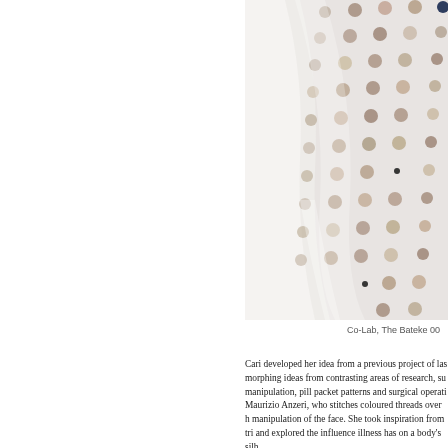[Figure (photo): Close-up photograph of a translucent fabric or garment with a regular grid pattern of small circular dots or beads in various earth tones (brown, beige, grey, tan) against a white background. The garment appears to be a sheer, polka-dotted textile draped or folded, cropped at the right edge.]
Co-Lab, The Bateke 00
Cari developed her idea from a previous project of las morphing ideas from contrasting areas of research, su manipulation, pill packet patterns and surgical operati Maurizio Anzeri, who stitches coloured threads over h manipulation of the face. She took inspiration from tri and explored the influence illness has on a body's silh